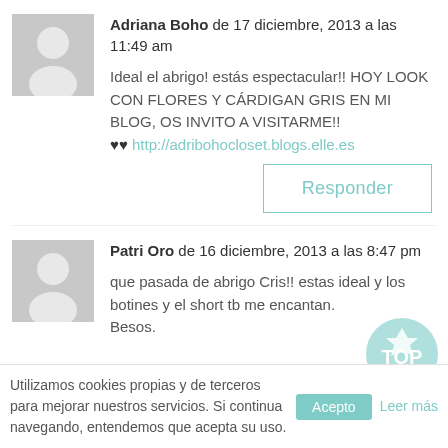Adriana Boho de 17 diciembre, 2013 a las 11:49 am
Ideal el abrigo! estás espectacular!! HOY LOOK CON FLORES Y CÁRDIGAN GRIS EN MI BLOG, OS INVITO A VISITARME!! ♥♥ http://adribohocloset.blogs.elle.es
Responder
Patri Oro de 16 diciembre, 2013 a las 8:47 pm
que pasada de abrigo Cris!! estas ideal y los botines y el short tb me encantan. Besos.
Utilizamos cookies propias y de terceros para mejorar nuestros servicios. Si continua navegando, entendemos que acepta su uso. Acepto Leer más